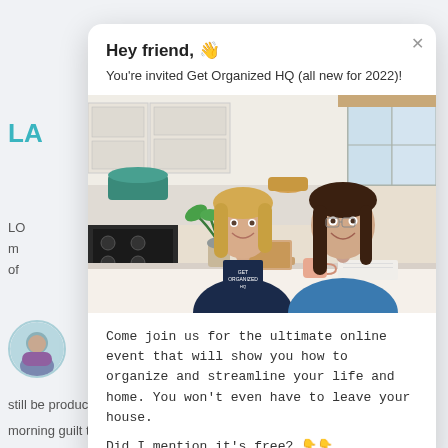[Figure (screenshot): Screenshot of a webpage with a popup/modal overlay. The background shows partial text including 'LA', 'LO', paragraph text, 'B', 'Th', 'ea', 'al', 'a', 'c', and a circular avatar photo at lower left, plus bottom cut-off text 'still be productive. I'm beat the early morning guilt trip. I've got too much'. The foreground popup card shows a greeting, subtitle, photo of two women in a kitchen, and body text.]
Hey friend, 👋
You're invited Get Organized HQ (all new for 2022)!
[Figure (photo): Two smiling women standing behind a kitchen counter. One woman on the left has blonde hair and wears a dark navy t-shirt that reads 'GET ORGANIZED HQ'. The other woman on the right has dark hair and wears a blue top. Between them on the counter are a laptop, a plant, a mug, and notebooks. The kitchen background has white cabinets, a stove, and a window.]
Come join us for the ultimate online event that will show you how to organize and streamline your life and home. You won't even have to leave your house.
Did I mention it's free? 👇👇
still be productive. I'm beat the early morning guilt trip. I've got too much